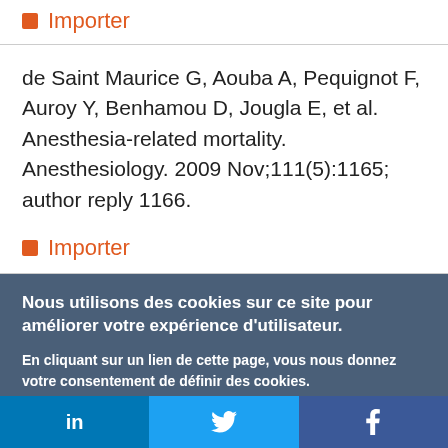Importer
de Saint Maurice G, Aouba A, Pequignot F, Auroy Y, Benhamou D, Jougla E, et al. Anesthesia-related mortality. Anesthesiology. 2009 Nov;111(5):1165; author reply 1166.
Importer
Nous utilisons des cookies sur ce site pour améliorer votre expérience d'utilisateur.
En cliquant sur un lien de cette page, vous nous donnez votre consentement de définir des cookies.
Oui, je suis d'accord   Plus d'infos
in   🐦   f